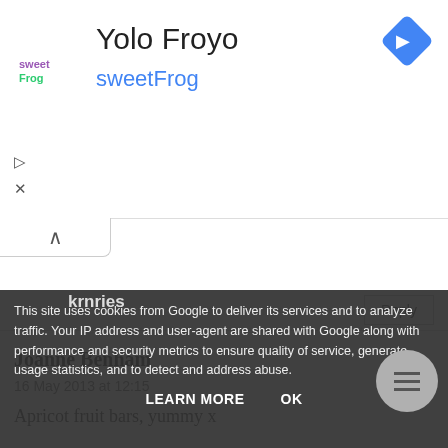[Figure (screenshot): Ad banner for sweetFrog / Yolo Froyo with logo, navigation icon, and play/close controls]
Reply
Joanne Benham
16 May 2013 at 12:15
Apricot fruit bars, yummy x
Reply
krnries
This site uses cookies from Google to deliver its services and to analyze traffic. Your IP address and user-agent are shared with Google along with performance and security metrics to ensure quality of service, generate usage statistics, and to detect and address abuse.
LEARN MORE    OK